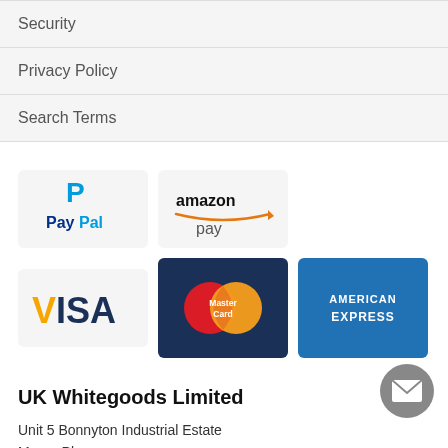Security
Privacy Policy
Search Terms
[Figure (logo): PayPal logo with blue P and PayPal text]
[Figure (logo): Amazon Pay logo with amazon text and arrow]
[Figure (logo): Visa logo in blue and yellow on grey background]
[Figure (logo): MasterCard logo with red and orange overlapping circles on dark blue background]
[Figure (logo): American Express logo in white text on blue background]
UK Whitegoods Limited
Unit 5 Bonnyton Industrial Estate
Munro Place
Kilmarnock
KA1 2NB